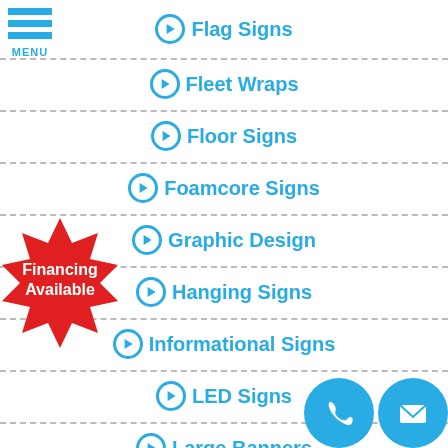[Figure (logo): Hamburger menu icon with three cyan bars and MENU text below]
Flag Signs
Fleet Wraps
Floor Signs
Foamcore Signs
Graphic Design
Hanging Signs
Informational Signs
LED Signs
Large Banners
[Figure (illustration): Red starburst badge with white bold text: Financing Available]
[Figure (illustration): Two cyan circles: one with a phone icon, one with an envelope/mail icon]